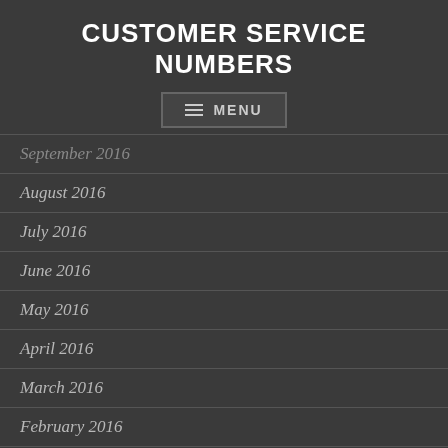CUSTOMER SERVICE NUMBERS
[Figure (other): Menu navigation button with hamburger icon and MENU label]
September 2016
August 2016
July 2016
June 2016
May 2016
April 2016
March 2016
February 2016
January 2016
December 2015
November 2015